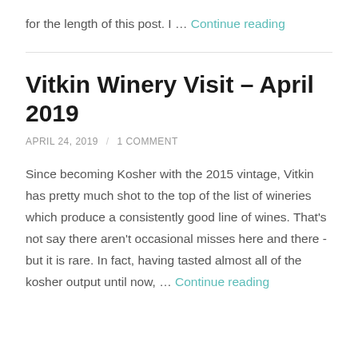for the length of this post. I … Continue reading
Vitkin Winery Visit – April 2019
APRIL 24, 2019 / 1 COMMENT
Since becoming Kosher with the 2015 vintage, Vitkin has pretty much shot to the top of the list of wineries which produce a consistently good line of wines. That's not say there aren't occasional misses here and there - but it is rare. In fact, having tasted almost all of the kosher output until now, … Continue reading